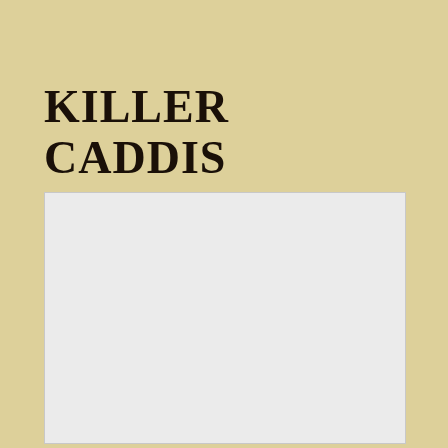KILLER CADDIS
Posted on February 12 2018
[Figure (photo): A large light gray rectangle placeholder image area below the title and date, representing a photo of killer caddis.]